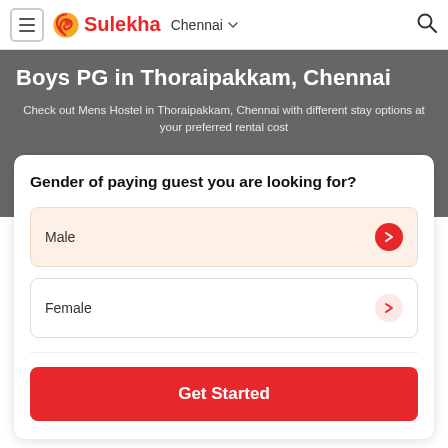Sulekha  Chennai
Boys PG in Thoraipakkam, Chennai
Check out Mens Hostel in Thoraipakkam, Chennai with different stay options at your preferred rental cost
Gender of paying guest you are looking for?
Male
Female
Get Started